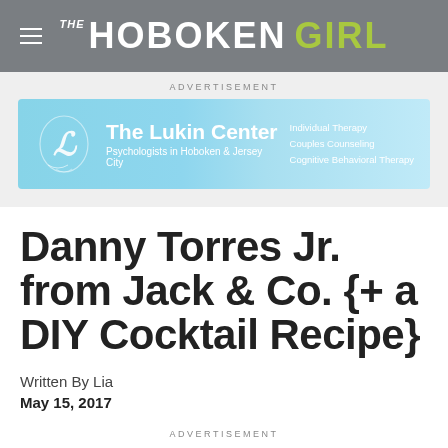THE HOBOKEN GIRL
[Figure (illustration): The Lukin Center advertisement banner: light blue gradient background with ornate LC logo, text 'The Lukin Center', 'Psychologists in Hoboken & Jersey City', 'Individual Therapy', 'Couples Counseling', 'Cognitive Behavioral Therapy']
Danny Torres Jr. from Jack & Co. {+ a DIY Cocktail Recipe}
Written By Lia
May 15, 2017
ADVERTISEMENT